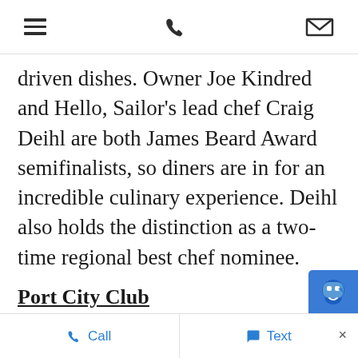[navigation bar with hamburger menu, phone icon, and envelope icon]
driven dishes. Owner Joe Kindred and Hello, Sailor's lead chef Craig Deihl are both James Beard Award semifinalists, so diners are in for an incredible culinary experience. Deihl also holds the distinction as a two-time regional best chef nominee.
Port City Club
18665 Harborside Drive, Cornelius, NC 28031
Port City Club is an elegant 13,500-sq
Call   Text   ×